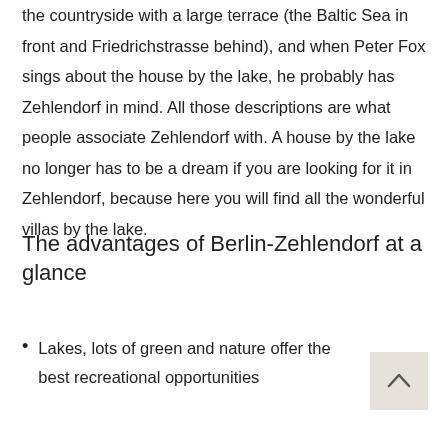the countryside with a large terrace (the Baltic Sea in front and Friedrichstrasse behind), and when Peter Fox sings about the house by the lake, he probably has Zehlendorf in mind. All those descriptions are what people associate Zehlendorf with. A house by the lake no longer has to be a dream if you are looking for it in Zehlendorf, because here you will find all the wonderful villas by the lake.
The advantages of Berlin-Zehlendorf at a glance
Lakes, lots of green and nature offer the best recreational opportunities